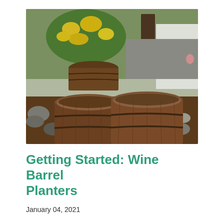[Figure (photo): Two large wooden wine barrel halves used as garden planters, filled with soil, set among rocks and fallen leaves in a garden. A third barrel planter and yellow flowering shrub visible in the background, with a wooden fence panel and gravel path.]
Getting Started: Wine Barrel Planters
January 04, 2021